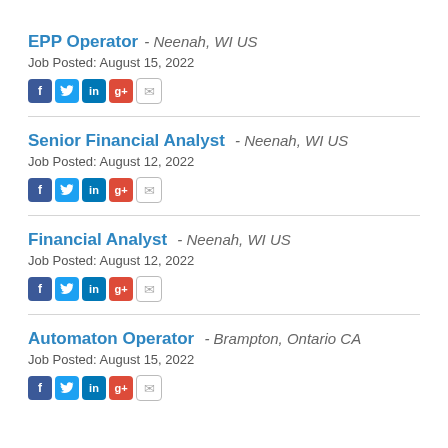EPP Operator - Neenah, WI US
Job Posted: August 15, 2022
Senior Financial Analyst - Neenah, WI US
Job Posted: August 12, 2022
Financial Analyst - Neenah, WI US
Job Posted: August 12, 2022
Automaton Operator - Brampton, Ontario CA
Job Posted: August 15, 2022